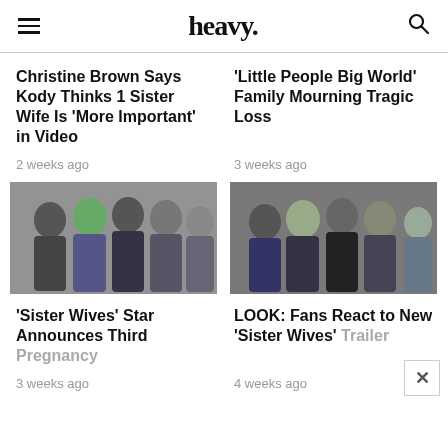heavy.
Christine Brown Says Kody Thinks 1 Sister Wife Is 'More Important' in Video
2 weeks ago
'Little People Big World' Family Mourning Tragic Loss
3 weeks ago
[Figure (photo): Group photo of Sister Wives cast members at an event]
[Figure (photo): Group photo of Sister Wives cast members smiling together]
'Sister Wives' Star Announces Third Pregnancy
3 weeks ago
LOOK: Fans React to New 'Sister Wives' Trailer
4 weeks ago